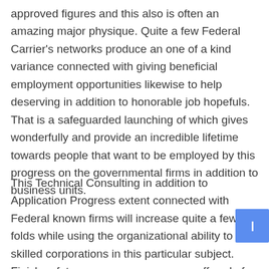approved figures and this also is often an amazing major physique. Quite a few Federal Carrier's networks produce an one of a kind variance connected with giving beneficial employment opportunities likewise to help deserving in addition to honorable job hopefuls. That is a safeguarded launching of which gives wonderfully and provide an incredible lifetime towards people that want to be employed by this progress on the governmental firms in addition to business units.
This Technical Consulting in addition to Application Progress extent connected with Federal known firms will increase quite a few folds while using the organizational ability to skilled corporations in this particular subject. Finish safety measures answers are offered of which guide this personal segment to help widely advance into their tasks in addition to get away from this current administration to help beautiful in addition to handled